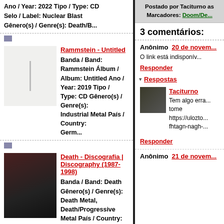Ano / Year: 2022 Tipo / Type: CD Selo / Label: Nuclear Blast Gênero(s) / Genre(s): Death/B...
[Figure (photo): Album cover thumbnail for Rammstein - Untitled, light gray with a thin vertical line]
Rammstein - Untitled
Banda / Band: Rammstein Álbum / Album: Untitled Ano / Year: 2019 Tipo / Type: CD Gênero(s) / Genre(s): Industrial Metal País / Country: Germ...
[Figure (photo): Band photo thumbnail for Death - Discografia, showing band members]
Death - Discografia | Discography (1987-1998)
Banda / Band: Death Gênero(s) / Genre(s): Death Metal, Death/Progressive Metal País / Country: United States Discografia | Discography Screa...
[Figure (photo): Album cover thumbnail for Woods of Infinity - Forlat, dark blue forest scene]
Woods of Infinity - Forlat
Banda / Band: Woods
Postado por Taciturno as
Marcadores: Doom/De...
3 comentários:
Anônimo  20 de novem...
O link está indisponív...
Responder
Respostas
[Figure (photo): Small profile photo thumbnail for Taciturno]
Taciturno
Tem algo erra... tome https://ulozto... fhtagn-nagh-...
Responder
Anônimo  21 de novem...